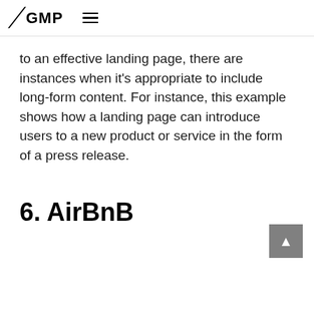/ GMP ≡
to an effective landing page, there are instances when it's appropriate to include long-form content. For instance, this example shows how a landing page can introduce users to a new product or service in the form of a press release.
6. AirBnB